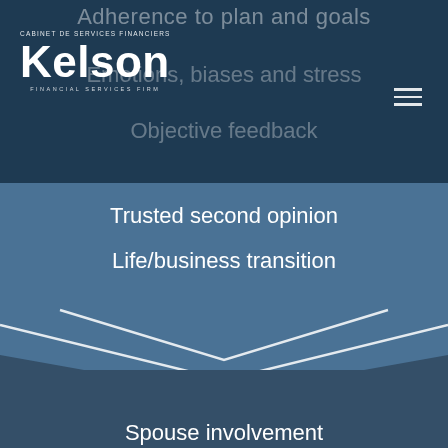Kelson Financial Services Firm | Cabinet de Services Financiers
Adherence to plan and goals
Emotions, biases and stress
Objective feedback
Trusted second opinion
Life/business transition
Continuity
Spouse involvement
Children engagement
Multigenerational planning
Legacy
Philanthropy